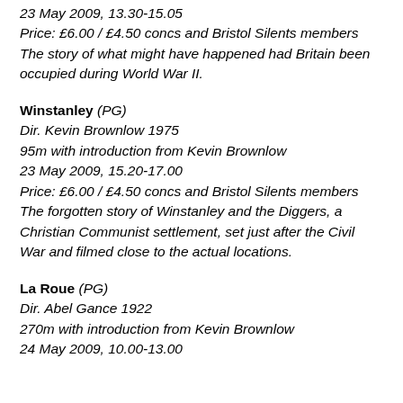23 May 2009, 13.30-15.05
Price: £6.00 / £4.50 concs and Bristol Silents members
The story of what might have happened had Britain been occupied during World War II.
Winstanley (PG)
Dir. Kevin Brownlow 1975
95m with introduction from Kevin Brownlow
23 May 2009, 15.20-17.00
Price: £6.00 / £4.50 concs and Bristol Silents members
The forgotten story of Winstanley and the Diggers, a Christian Communist settlement, set just after the Civil War and filmed close to the actual locations.
La Roue (PG)
Dir. Abel Gance 1922
270m with introduction from Kevin Brownlow
24 May 2009, 10.00-13.00